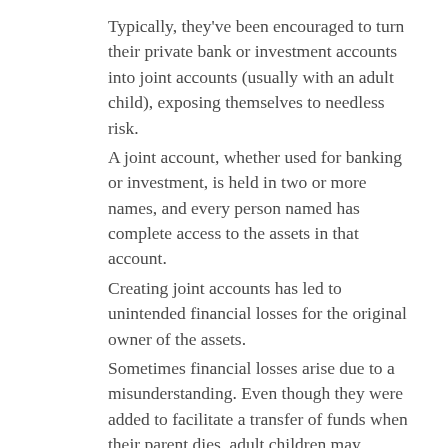Typically, they've been encouraged to turn their private bank or investment accounts into joint accounts (usually with an adult child), exposing themselves to needless risk.
A joint account, whether used for banking or investment, is held in two or more names, and every person named has complete access to the assets in that account.
Creating joint accounts has led to unintended financial losses for the original owner of the assets.
Sometimes financial losses arise due to a misunderstanding. Even though they were added to facilitate a transfer of funds when their parent dies, adult children may believe the funds are theirs to spend. And they do.
Other times, losses are caused by divorce or business failure. If an adult child named to a joint account suffers a marriage breakdown or business loss, the